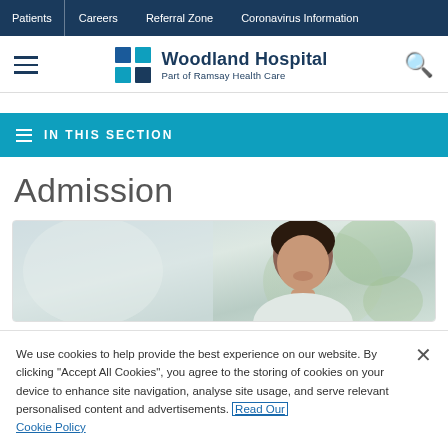Patients | Careers | Referral Zone | Coronavirus Information
[Figure (logo): Woodland Hospital logo with blue grid squares and text 'Woodland Hospital, Part of Ramsay Health Care']
IN THIS SECTION
Admission
[Figure (photo): Photo of a smiling woman, blurred background with green plants]
We use cookies to help provide the best experience on our website. By clicking "Accept All Cookies", you agree to the storing of cookies on your device to enhance site navigation, analyse site usage, and serve relevant personalised content and advertisements. Read Our Cookie Policy